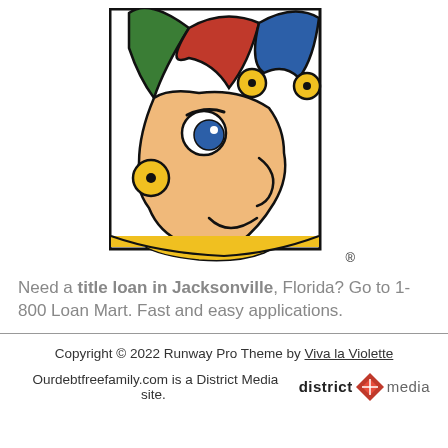[Figure (logo): 1-800 Loan Mart jester mascot logo — cartoon jester head in profile facing right, with colored hat sections (green, red, blue), blue eye, yellow ear/collar bells, peach skin, yellow body, black outline, on white background. Registered trademark symbol at bottom right.]
Need a title loan in Jacksonville, Florida? Go to 1-800 Loan Mart. Fast and easy applications.
Copyright © 2022 Runway Pro Theme by Viva la Violette
Ourdebtfreefamily.com is a District Media site. district media